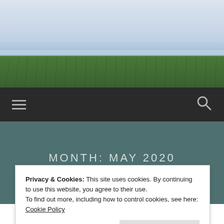[Figure (photo): Landscape photo of a green grassy marsh/field with calm water in the background and a light blue-grey sky above]
☰  🔍
MONTH: MAY 2020
Privacy & Cookies: This site uses cookies. By continuing to use this website, you agree to their use.
To find out more, including how to control cookies, see here: Cookie Policy
Close and accept